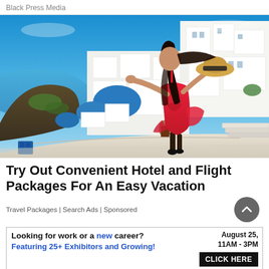Black Press Media
[Figure (photo): Woman in red dress with arms outstretched holding a straw hat, standing on a path overlooking Santorini, Greece, with white buildings and blue-domed churches and the sea in the background under a blue sky.]
Try Out Convenient Hotel and Flight Packages For An Easy Vacation
Travel Packages | Search Ads | Sponsored
[Figure (infographic): Advertisement banner: 'Looking for work or a new career? August 25, 11AM - 3PM. Featuring 25+ Exhibitors and Growing! CLICK HERE']